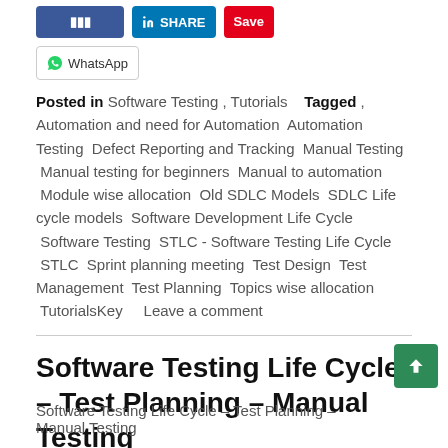[Figure (screenshot): Social share buttons: blue button (partially cut), LinkedIn SHARE button, red SAVE button]
[Figure (screenshot): WhatsApp share button with WhatsApp icon]
Posted in Software Testing , Tutorials   Tagged , Automation and need for Automation Automation Testing Defect Reporting and Tracking Manual Testing Manual testing for beginners Manual to automation Module wise allocation Old SDLC Models SDLC Life cycle models Software Development Life Cycle Software Testing STLC - Software Testing Life Cycle STLC Sprint planning meeting Test Design Test Management Test Planning Topics wise allocation TutorialsKey   Leave a comment
Software Testing Life Cycle – Test Planning – Manual Testing
On August 30, 2018
Software Testing Life Cycle – Test Planning – Manual Testing